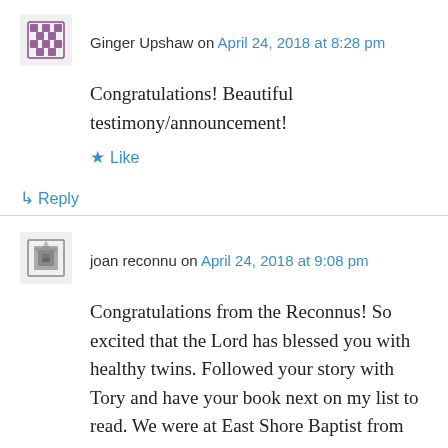Ginger Upshaw on April 24, 2018 at 8:28 pm
Congratulations! Beautiful testimony/announcement!
Like
Reply
joan reconnu on April 24, 2018 at 9:08 pm
Congratulations from the Reconnus! So excited that the Lord has blessed you with healthy twins. Followed your story with Tory and have your book next on my list to read. We were at East Shore Baptist from 1983 until 1992?